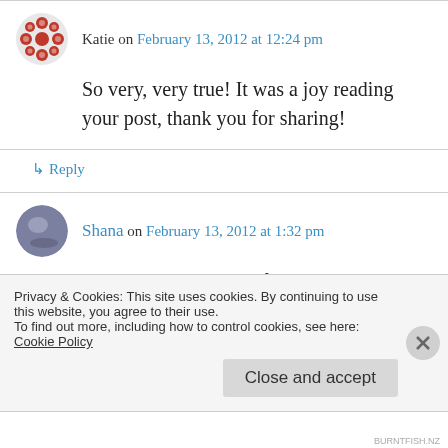Katie on February 13, 2012 at 12:24 pm
So very, very true! It was a joy reading your post, thank you for sharing!
↳ Reply
Shana on February 13, 2012 at 1:32 pm
Totally agree! Thanks for the post! I may reblog it in the next couple of days, if that is okay with
Privacy & Cookies: This site uses cookies. By continuing to use this website, you agree to their use.
To find out more, including how to control cookies, see here: Cookie Policy
Close and accept